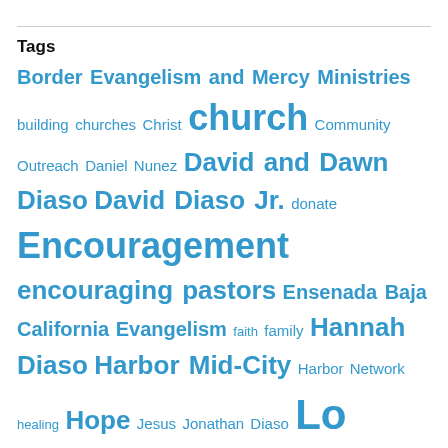Tags
Border Evangelism and Mercy Ministries building churches Christ church Community Outreach Daniel Nunez David and Dawn Diaso David Diaso Jr. donate Encouragement encouraging pastors Ensenada Baja California Evangelism faith family Hannah Diaso Harbor Mid-City Harbor Network healing Hope Jesus Jonathan Diaso Lo Mejor del Trigo Mexicali Mexico Mexico City Ministerios Transformación Mission to the World Mourning Pastor